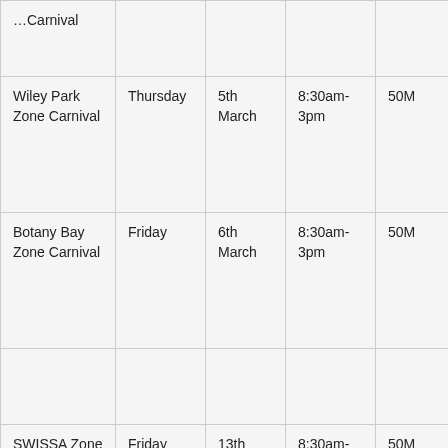| …Carnival |  |  |  |  |
| Wiley Park Zone Carnival | Thursday | 5th March | 8:30am-3pm | 50M |
| Botany Bay Zone Carnival | Friday | 6th March | 8:30am-3pm | 50M |
|  |  |  |  |  |
| SWISSA Zone Carnival | Friday | 13th March | 8:30am-3pm | 50M |
|  |  |  |  |  |